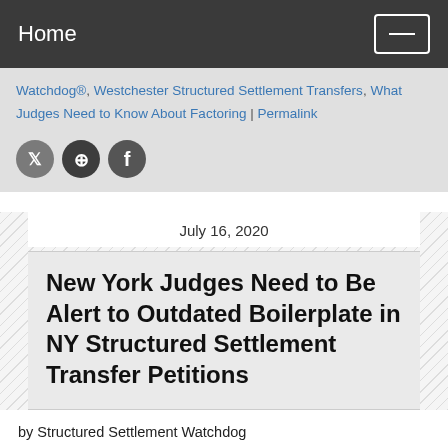Home
Watchdog®, Westchester Structured Settlement Transfers, What Judges Need to Know About Factoring | Permalink
[Figure (infographic): Social share icons: Twitter (grey circle with bird icon), Pinterest (dark circle with P icon), Facebook (dark circle with f icon)]
July 16, 2020
New York Judges Need to Be Alert to Outdated Boilerplate in NY Structured Settlement Transfer Petitions
by Structured Settlement Watchdog
Buyers of structured settlement payment rights attempt to justify how "reasonable" their bloated